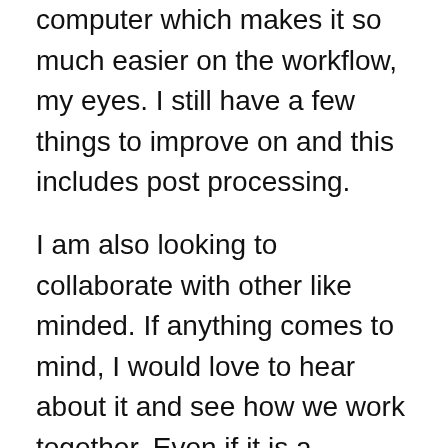computer which makes it so much easier on the workflow, my eyes. I still have a few things to improve on and this includes post processing.
I am also looking to collaborate with other like minded. If anything comes to mind, I would love to hear about it and see how we work together. Even if it is a question about photography, I am happy to hear it and I will do my best to answer them even if it is to do with my personal.
Last but not least, I have a few personal projects in the works. The scale of one of them is frighteningly exciting but I am looking forward to show you some results soon.